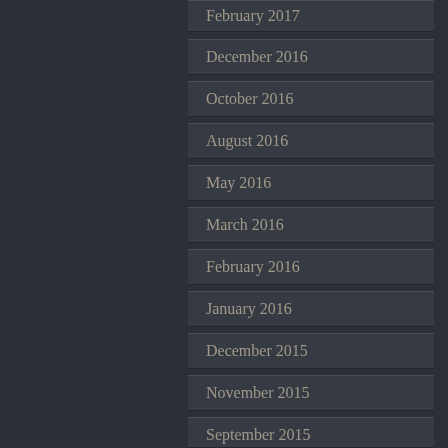February 2017
December 2016
October 2016
August 2016
May 2016
March 2016
February 2016
January 2016
December 2015
November 2015
September 2015
August 2015
July 2015